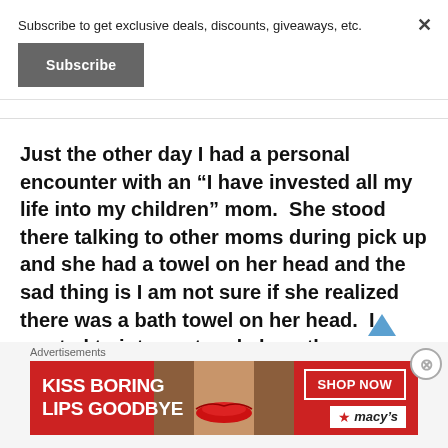Subscribe to get exclusive deals, discounts, giveaways, etc.
Subscribe
Just the other day I had a personal encounter with an “I have invested all my life into my children” mom.  She stood there talking to other moms during pick up and she had a towel on her head and the sad thing is I am not sure if she realized there was a bath towel on her head.  I wanted to interrupt and share the news with her but she looked frazzled as it was and I didn’t want to be the bearer of bad
Advertisements
[Figure (other): Advertisement banner for Macy's lipstick product with text KISS BORING LIPS GOODBYE, a woman's face with red lipstick, SHOP NOW button, and Macy's star logo]